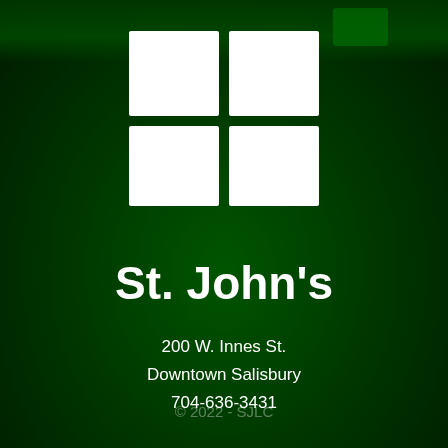[Figure (logo): St. John's church logo: a 2x2 grid of white squares on a dark green background, with the top-left tile slightly taller than the bottom row tiles.]
St. John's
200 W. Innes St.
Downtown Salisbury
704-636-3431
© 2022 - SJLC